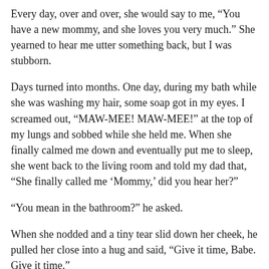Every day, over and over, she would say to me, “You have a new mommy, and she loves you very much.” She yearned to hear me utter something back, but I was stubborn.
Days turned into months. One day, during my bath while she was washing my hair, some soap got in my eyes. I screamed out, “MAW-MEE! MAW-MEE!” at the top of my lungs and sobbed while she held me. When she finally calmed me down and eventually put me to sleep, she went back to the living room and told my dad that, “She finally called me ‘Mommy,’ did you hear her?”
“You mean in the bathroom?” he asked.
When she nodded and a tiny tear slid down her cheek, he pulled her close into a hug and said, “Give it time, Babe. Give it time.”
A few weeks after that soapy eye experience, my mom said